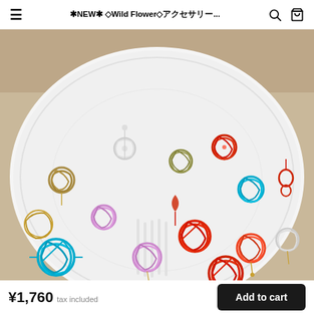☰  ＊NEW＊ ◇Wild Flower◇...  🔍  🛒
[Figure (photo): Product photo showing an assortment of colorful Japanese mizuhiki knotted earrings in various colors (red, blue, white, gold, pink, orange) arranged on a white ceramic plate.]
¥1,760  tax included
Add to cart